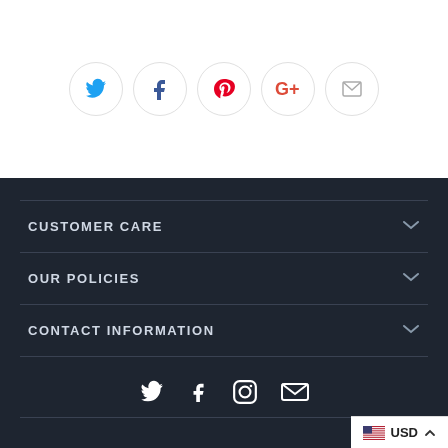[Figure (infographic): Row of 5 social media icon circles (Twitter blue, Facebook dark, Pinterest red, Google+ red, Email gray) on white background]
CUSTOMER CARE
OUR POLICIES
CONTACT INFORMATION
[Figure (infographic): Row of 4 white social media icons on dark background: Twitter, Facebook, Instagram, Email]
USD